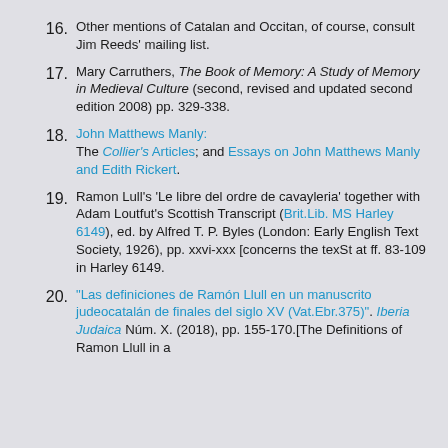16. Other mentions of Catalan and Occitan, of course, consult Jim Reeds' mailing list.
17. Mary Carruthers, The Book of Memory: A Study of Memory in Medieval Culture (second, revised and updated second edition 2008) pp. 329-338.
18. John Matthews Manly: The Collier's Articles; and Essays on John Matthews Manly and Edith Rickert.
19. Ramon Lull's 'Le libre del ordre de cavayleria' together with Adam Loutfut's Scottish Transcript (Brit.Lib. MS Harley 6149), ed. by Alfred T. P. Byles (London: Early English Text Society, 1926), pp. xxvi-xxx [concerns the texSt at ff. 83-109 in Harley 6149.
20. Idan Pérez, "Las definiciones de Ramón Llull en un manuscrito judeocatalán de finales del siglo XV (Vat.Ebr.375)". Iberia Judaica Núm. X. (2018), pp. 155-170.[The Definitions of Ramon Llull in a Judeo-Catalan Manuscript from the late...